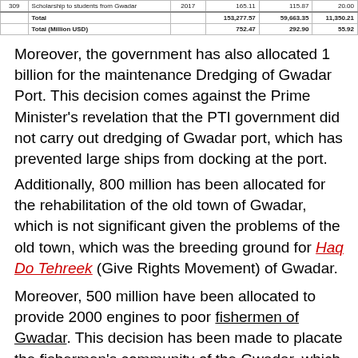|  |  |  |  |  |
| --- | --- | --- | --- | --- |
| 309 | Scholarship to students from Gwadar | 2017 | 165.11 | 115.87 | 20.00 |
|  | Total |  | 153,277.57 | 59,663.35 | 11,350.21 |
|  | Total (Million USD) |  | 752.47 | 292.90 | 55.92 |
Moreover, the government has also allocated 1 billion for the maintenance Dredging of Gwadar Port. This decision comes against the Prime Minister's revelation that the PTI government did not carry out dredging of Gwadar port, which has prevented large ships from docking at the port.
Additionally, 800 million has been allocated for the rehabilitation of the old town of Gwadar, which is not significant given the problems of the old town, which was the breeding ground for Haq Do Tehreek (Give Rights Movement) of Gwadar.
Moreover, 500 million have been allocated to provide 2000 engines to poor fishermen of Gwadar. This decision has been made to placate the fishermen's community of the Gwadar, which was the main human resource